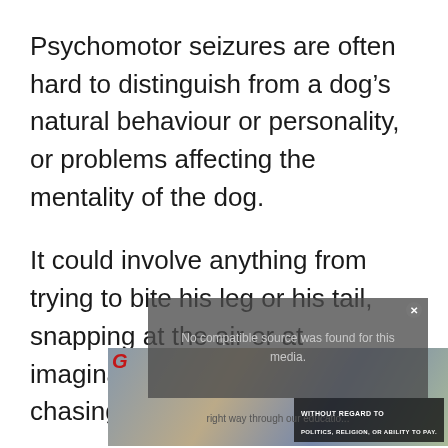Psychomotor seizures are often hard to distinguish from a dog's natural behaviour or personality, or problems affecting the mentality of the dog.
It could involve anything from trying to bite his leg or his tail, snapping at the air or at imaginary things, or rapid tail chasing.
This kind of seizure affects only the
[Figure (screenshot): Embedded video overlay showing 'No compatible source was found for this media.' message with a grey background and a close button. Below it is an advertisement banner showing an airplane image with text 'WITHOUT REGARD TO' and an education-related link overlay.]